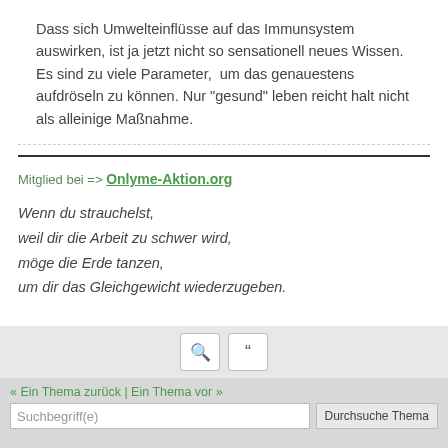Dass sich Umwelteinflüsse auf das Immunsystem auswirken, ist ja jetzt nicht so sensationell neues Wissen. Es sind zu viele Parameter,  um das genauestens aufdröseln zu können. Nur "gesund" leben reicht halt nicht als alleinige Maßnahme.
Mitglied bei => Onlyme-Aktion.org
Wenn du strauchelst,
weil dir die Arbeit zu schwer wird,
möge die Erde tanzen,
um dir das Gleichgewicht wiederzugeben.
« Ein Thema zurück | Ein Thema vor »
Suchbegriff(e) | Durchsuche Thema